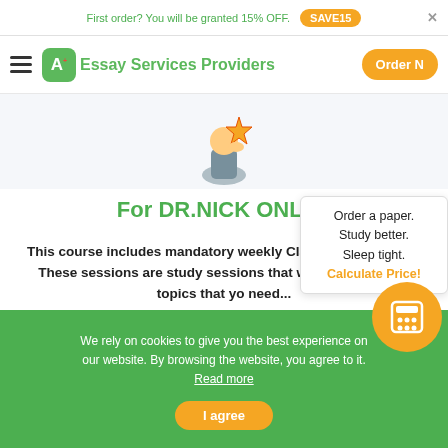First order? You will be granted 15% OFF. SAVE15
Essay Services Providers  Order Now
[Figure (illustration): Illustration of a student figure holding a star award/trophy]
For DR.NICK ONLY...
This course includes mandatory weekly Classroom sessions. These sessions are study sessions that will cover various topics that you need...
Order a paper. Study better. Sleep tight. Calculate Price!
We rely on cookies to give you the best experience on our website. By browsing the website, you agree to it. Read more
I agree